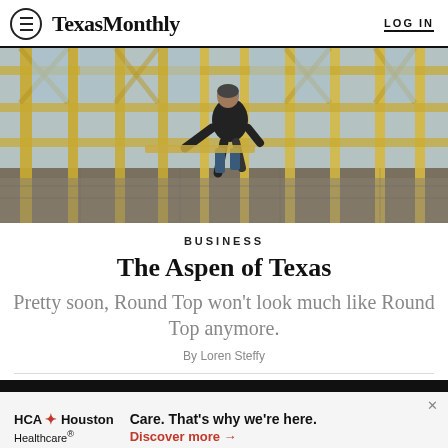TexasMonthly | LOG IN
[Figure (photo): A construction worker walking through wooden framing structure of a building under construction, viewed from inside looking outward. Yellow lumber framing visible throughout.]
BUSINESS
The Aspen of Texas
Pretty soon, Round Top won't look much like Round Top anymore.
By Loren Steffy
[Figure (other): HCA Houston Healthcare advertisement banner: Care. That's why we're here. Discover more →]